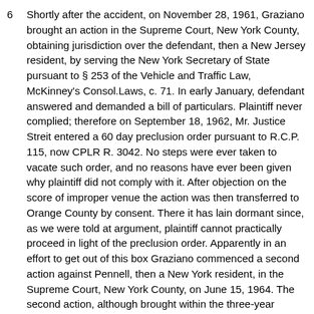Shortly after the accident, on November 28, 1961, Graziano brought an action in the Supreme Court, New York County, obtaining jurisdiction over the defendant, then a New Jersey resident, by serving the New York Secretary of State pursuant to § 253 of the Vehicle and Traffic Law, McKinney's Consol.Laws, c. 71. In early January, defendant answered and demanded a bill of particulars. Plaintiff never complied; therefore on September 18, 1962, Mr. Justice Streit entered a 60 day preclusion order pursuant to R.C.P. 115, now CPLR R. 3042. No steps were ever taken to vacate such order, and no reasons have ever been given why plaintiff did not comply with it. After objection on the score of improper venue the action was then transferred to Orange County by consent. There it has lain dormant since, as we were told at argument, plaintiff cannot practically proceed in light of the preclusion order. Apparently in an effort to get out of this box Graziano commenced a second action against Pennell, then a New York resident, in the Supreme Court, New York County, on June 15, 1964. The second action, although brought within the three-year period of limitations, encountered a predictably inevitable motion to dismiss under CPLR R. 3211(a) (4) on the ground that "there is another action pending between the same parties for the same cause of action in a court of any state or the United States." The motion was granted on October 8, 1964, the